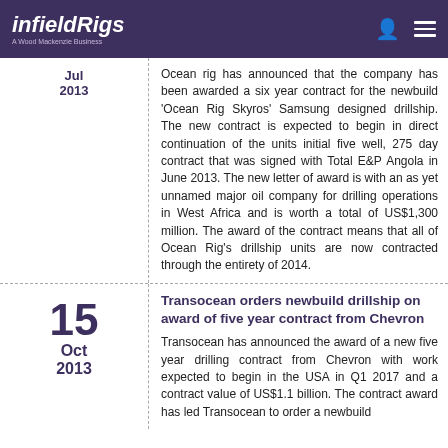infieldRigs — A Wood Mackenzie Business
Ocean rig has announced that the company has been awarded a six year contract for the newbuild 'Ocean Rig Skyros' Samsung designed drillship. The new contract is expected to begin in direct continuation of the units initial five well, 275 day contract that was signed with Total E&P Angola in June 2013. The new letter of award is with an as yet unnamed major oil company for drilling operations in West Africa and is worth a total of US$1,300 million. The award of the contract means that all of Ocean Rig's drillship units are now contracted through the entirety of 2014.
Transocean orders newbuild drillship on award of five year contract from Chevron
Transocean has announced the award of a new five year drilling contract from Chevron with work expected to begin in the USA in Q1 2017 and a contract value of US$1.1 billion. The contract award has led Transocean to order a newbuild